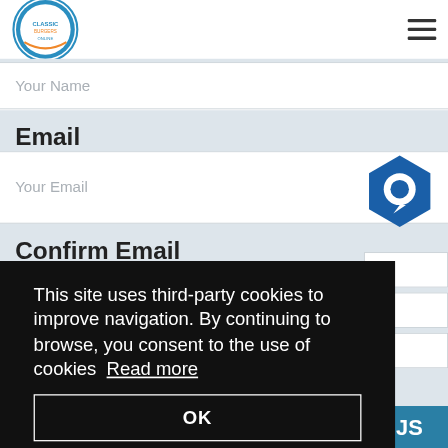Your Name
Email
Your Email
[Figure (illustration): Hexagonal dark blue chat bubble icon]
Confirm Email
This site uses third-party cookies to improve navigation. By continuing to browse, you consent to the use of cookies Read more
OK
JS